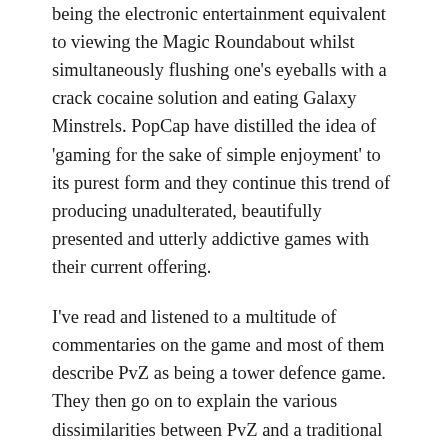being the electronic entertainment equivalent to viewing the Magic Roundabout whilst simultaneously flushing one's eyeballs with a crack cocaine solution and eating Galaxy Minstrels. PopCap have distilled the idea of 'gaming for the sake of simple enjoyment' to its purest form and they continue this trend of producing unadulterated, beautifully presented and utterly addictive games with their current offering.
I've read and listened to a multitude of commentaries on the game and most of them describe PvZ as being a tower defence game. They then go on to explain the various dissimilarities between PvZ and a traditional tower defence game, until one is left wondering if PvZ is perhaps in fact not a tower defence game at all but a first person shooter. Or a small dog in a hat. It's hard to entirely qualify what PvZ is; where Bejeweled sits distinctly in the puzzle genre, PvZ is part puzzle, part tower defence and part arcade game. Ostensibly though, PvZ is clearly of the family of tower